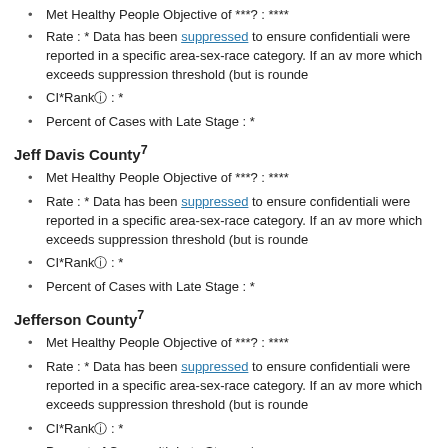Met Healthy People Objective of ***?: ****
Rate : * Data has been suppressed to ensure confidentiality were reported in a specific area-sex-race category. If an av more which exceeds suppression threshold (but is rounde
CI*Rankⓘ : *
Percent of Cases with Late Stage : *
Jeff Davis County7
Met Healthy People Objective of ***?: ****
Rate : * Data has been suppressed to ensure confidentiality were reported in a specific area-sex-race category. If an av more which exceeds suppression threshold (but is rounde
CI*Rankⓘ : *
Percent of Cases with Late Stage : *
Jefferson County7
Met Healthy People Objective of ***?: ****
Rate : * Data has been suppressed to ensure confidentiality were reported in a specific area-sex-race category. If an av more which exceeds suppression threshold (but is rounde
CI*Rankⓘ : *
Percent of Cases with Late Stage : *